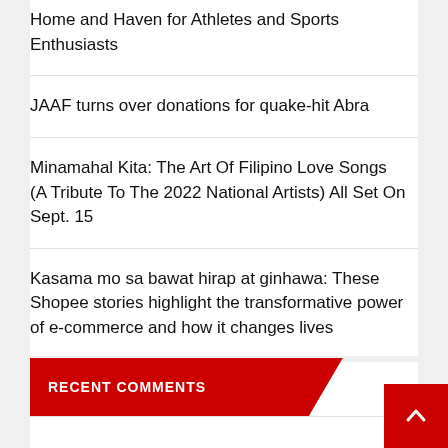Home and Haven for Athletes and Sports Enthusiasts
JAAF turns over donations for quake-hit Abra
Minamahal Kita: The Art Of Filipino Love Songs (A Tribute To The 2022 National Artists) All Set On Sept. 15
Kasama mo sa bawat hirap at ginhawa: These Shopee stories highlight the transformative power of e-commerce and how it changes lives
RECENT COMMENTS